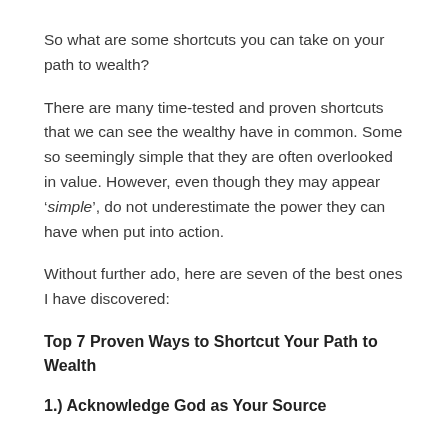So what are some shortcuts you can take on your path to wealth?
There are many time-tested and proven shortcuts that we can see the wealthy have in common. Some so seemingly simple that they are often overlooked in value. However, even though they may appear ‘simple’, do not underestimate the power they can have when put into action.
Without further ado, here are seven of the best ones I have discovered:
Top 7 Proven Ways to Shortcut Your Path to Wealth
1.) Acknowledge God as Your Source